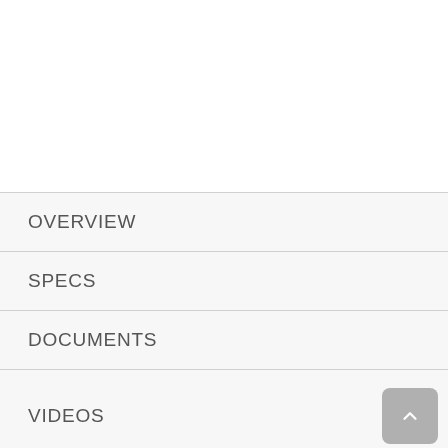OVERVIEW
SPECS
DOCUMENTS
VIDEOS
WARRANTY